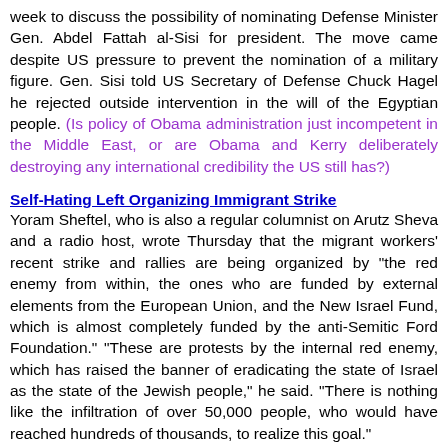week to discuss the possibility of nominating Defense Minister Gen. Abdel Fattah al-Sisi for president. The move came despite US pressure to prevent the nomination of a military figure. Gen. Sisi told US Secretary of Defense Chuck Hagel he rejected outside intervention in the will of the Egyptian people. (Is policy of Obama administration just incompetent in the Middle East, or are Obama and Kerry deliberately destroying any international credibility the US still has?)
Self-Hating Left Organizing Immigrant Strike
Yoram Sheftel, who is also a regular columnist on Arutz Sheva and a radio host, wrote Thursday that the migrant workers' recent strike and rallies are being organized by "the red enemy from within, the ones who are funded by external elements from the European Union, and the New Israel Fund, which is almost completely funded by the anti-Semitic Ford Foundation." "These are protests by the internal red enemy, which has raised the banner of eradicating the state of Israel as the state of the Jewish people," he said. "There is nothing like the infiltration of over 50,000 people, who would have reached hundreds of thousands, to realize this goal."
UN Smear Campaign Against Israel